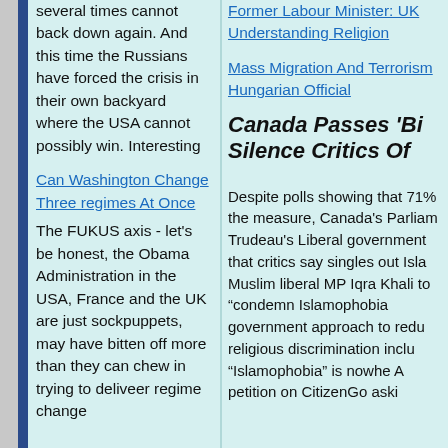several times cannot back down again. And this time the Russians have forced the crisis in their own backyard where the USA cannot possibly win. Interesting
Former Labour Minister: UK Understanding Religion
Mass Migration And Terrorism Hungarian Official
Canada Passes 'Bi... Silence Critics Of...
Can Washington Change Three regimes At Once
The FUKUS axis - let's be honest, the Obama Administration in the USA, France and the UK are just sockpuppets, may have bitten off more than they can chew in trying to deliveer regime change by by anyone to...
Despite polls showing that 71% the measure, Canada's Parliam... Trudeau's Liberal government... that critics say singles out Isla... Muslim liberal MP Iqra Khali... to “condemn Islamophobia... government approach to redu... religious discrimination inclu... “Islamophobia” is nowhe... A petition on CitizenGo aski...